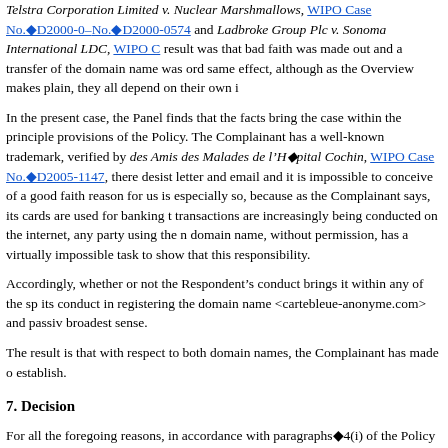Telstra Corporation Limited v. Nuclear Marshmallows, WIPO Case No. D2000-0003 and WIPO Case No. D2000-0574 and Ladbroke Group Plc v. Sonoma International LDC, WIPO Case No. ..., result was that bad faith was made out and a transfer of the domain name was ordered. The same effect, although as the Overview makes plain, they all depend on their own individual facts.
In the present case, the Panel finds that the facts bring the case within the principles and provisions of the Policy. The Complainant has a well-known trademark, verified by Association des Amis des Malades de l'Hopital Cochin, WIPO Case No. D2005-1147, there was a cease and desist letter and email and it is impossible to conceive of a good faith reason for using this mark. It is especially so, because as the Complainant says, its cards are used for banking transactions and transactions are increasingly being conducted on the internet, any party using the mark as a domain name, without permission, has a virtually impossible task to show that this was done without responsibility.
Accordingly, whether or not the Respondent's conduct brings it within any of the specific examples, its conduct in registering the domain name <cartebleue-anonyme.com> and passively holding it in the broadest sense.
The result is that with respect to both domain names, the Complainant has made out all it has to establish.
7. Decision
For all the foregoing reasons, in accordance with paragraphs 4(i) of the Policy and ..., names <cartebleue-anonyme.com> and <cartebleue-suisse.com> be transferred to ...
The Honourable Neil Anthony Brown
Sole Panelist
Dated: March 19, 2007